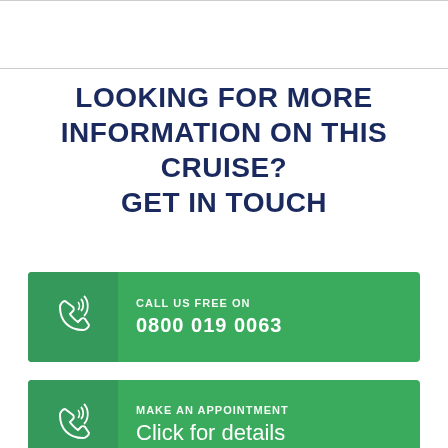LOOKING FOR MORE INFORMATION ON THIS CRUISE? GET IN TOUCH
CALL US FREE ON
0800 019 0063
MAKE AN APPOINTMENT
Click for details
OR ENQUIRE ONLINE